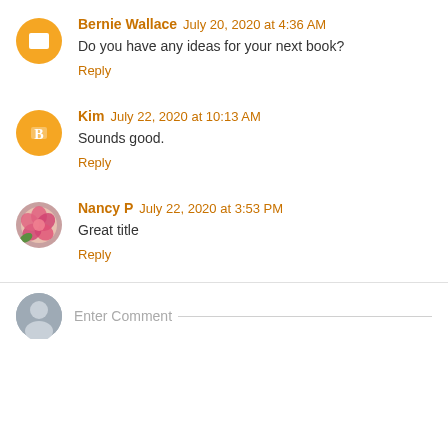Bernie Wallace  July 20, 2020 at 4:36 AM
Do you have any ideas for your next book?
Reply
Kim  July 22, 2020 at 10:13 AM
Sounds good.
Reply
Nancy P  July 22, 2020 at 3:53 PM
Great title
Reply
Enter Comment